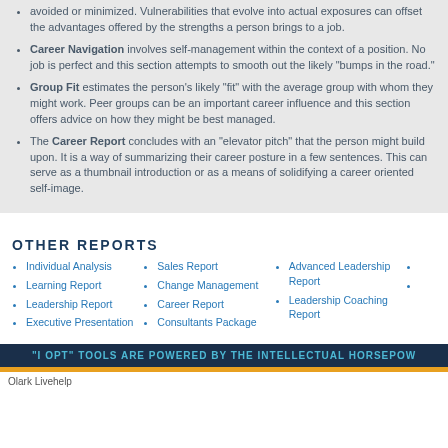avoided or minimized. Vulnerabilities that evolve into actual exposures can offset the advantages offered by the strengths a person brings to a job.
Career Navigation involves self-management within the context of a position. No job is perfect and this section attempts to smooth out the likely "bumps in the road."
Group Fit estimates the person's likely "fit" with the average group with whom they might work. Peer groups can be an important career influence and this section offers advice on how they might be best managed.
The Career Report concludes with an "elevator pitch" that the person might build upon. It is a way of summarizing their career posture in a few sentences. This can serve as a thumbnail introduction or as a means of solidifying a career oriented self-image.
OTHER REPORTS
Individual Analysis
Learning Report
Leadership Report
Executive Presentation
Sales Report
Change Management
Career Report
Consultants Package
Advanced Leadership Report
Leadership Coaching Report
"I OPT" TOOLS ARE POWERED BY THE INTELLECTUAL HORSEPOW
Olark Livehelp